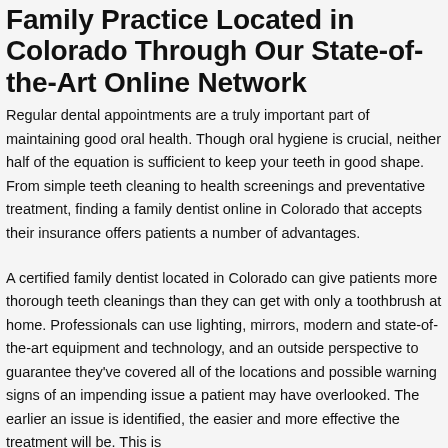Family Practice Located in Colorado Through Our State-of-the-Art Online Network
Regular dental appointments are a truly important part of maintaining good oral health. Though oral hygiene is crucial, neither half of the equation is sufficient to keep your teeth in good shape. From simple teeth cleaning to health screenings and preventative treatment, finding a family dentist online in Colorado that accepts their insurance offers patients a number of advantages.
A certified family dentist located in Colorado can give patients more thorough teeth cleanings than they can get with only a toothbrush at home. Professionals can use lighting, mirrors, modern and state-of-the-art equipment and technology, and an outside perspective to guarantee they've covered all of the locations and possible warning signs of an impending issue a patient may have overlooked. The earlier an issue is identified, the easier and more effective the treatment will be. This is